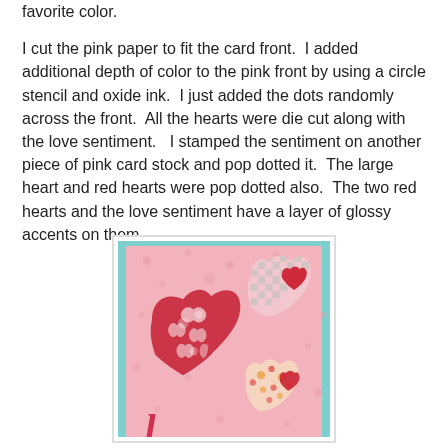favorite color.
I cut the pink paper to fit the card front.  I added additional depth of color to the pink front by using a circle stencil and oxide ink.  I just added the dots randomly across the front.  All the hearts were die cut along with the love sentiment.   I stamped the sentiment on another piece of pink card stock and pop dotted it.  The large heart and red hearts were pop dotted also.  The two red hearts and the love sentiment have a layer of glossy accents on them.
[Figure (photo): A handmade Valentine's card with a pink background featuring decorative hearts: a large red and white damask/floral patterned heart, a pink and white checkered heart with a small red heart overlay, and a small floral heart with red accent. The card also shows a partial 'love' script at the bottom.]